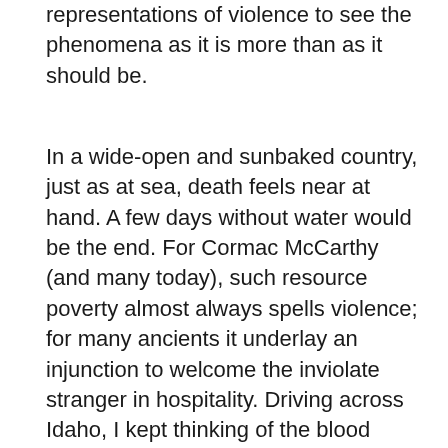representations of violence to see the phenomena as it is more than as it should be.
In a wide-open and sunbaked country, just as at sea, death feels near at hand. A few days without water would be the end. For Cormac McCarthy (and many today), such resource poverty almost always spells violence; for many ancients it underlay an injunction to welcome the inviolate stranger in hospitality. Driving across Idaho, I kept thinking of the blood smeared season's end of Game of Thrones, and my own experience of blood on my